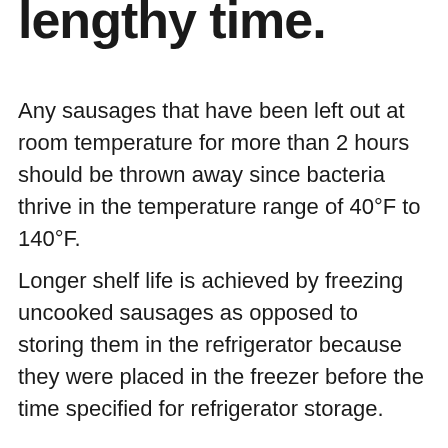lengthy time.
Any sausages that have been left out at room temperature for more than 2 hours should be thrown away since bacteria thrive in the temperature range of 40°F to 140°F.
Longer shelf life is achieved by freezing uncooked sausages as opposed to storing them in the refrigerator because they were placed in the freezer before the time specified for refrigerator storage.